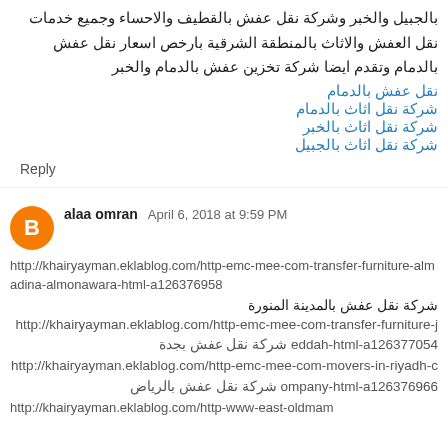بالجبيل والخبر وشركة نقل عفش بالقطيف والاحساء وجميع خدمات نقل العفش والاثاث بالمنطقة الشرقية بارخص اسعار نقل عفش بالدمام وتقدم ايضا شركة تخزين عفش بالدمام والخبر
نقل عفش بالدمام
شركة نقل اثاث بالدمام
شركة نقل اثاث بالخبر
شركة نقل اثاث بالجبيل
Reply
alaa omran  April 6, 2018 at 9:59 PM
http://khairyayman.eklablog.com/http-emc-mee-com-transfer-furniture-almadina-almonawara-html-a126376958
شركة نقل عفش بالمدينة المنورة
http://khairyayman.eklablog.com/http-emc-mee-com-transfer-furniture-jeddah-html-a126377054 شركة نقل عفش بجدة
http://khairyayman.eklablog.com/http-emc-mee-com-movers-in-riyadh-company-html-a126376966 شركة نقل عفش بالرياض
http://khairyayman.eklablog.com/http-www-east-oldmam